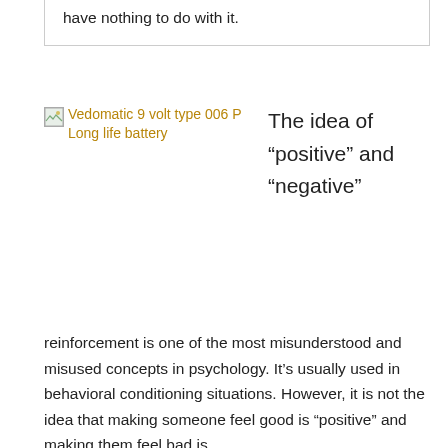have nothing to do with it.
[Figure (photo): Broken image placeholder for Vedomatic 9 volt type 006 P Long life battery]
The idea of “positive” and “negative”
reinforcement is one of the most misunderstood and misused concepts in psychology. It’s usually used in behavioral conditioning situations. However, it is not the idea that making someone feel good is “positive” and making them feel bad is